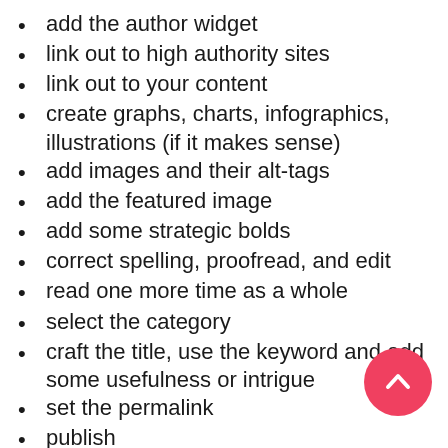add the author widget
link out to high authority sites
link out to your content
create graphs, charts, infographics, illustrations (if it makes sense)
add images and their alt-tags
add the featured image
add some strategic bolds
correct spelling, proofread, and edit
read one more time as a whole
select the category
craft the title, use the keyword and add some usefulness or intrigue
set the permalink
publish
add internal links to your post from other articles on your blog
promote the blog post